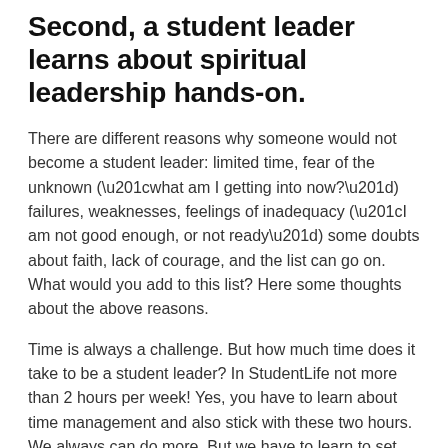Second, a student leader learns about spiritual leadership hands-on.
There are different reasons why someone would not become a student leader: limited time, fear of the unknown (“what am I getting into now?”) failures, weaknesses, feelings of inadequacy (“I am not good enough, or not ready”) some doubts about faith, lack of courage, and the list can go on. What would you add to this list? Here some thoughts about the above reasons.
Time is always a challenge. But how much time does it take to be a student leader? In StudentLife not more than 2 hours per week! Yes, you have to learn about time management and also stick with these two hours. We always can do more. But we have to learn to set limits and boundaries in our lives.
It also has to do with priorities and values. What are the things that you are doing at the moment that you could either